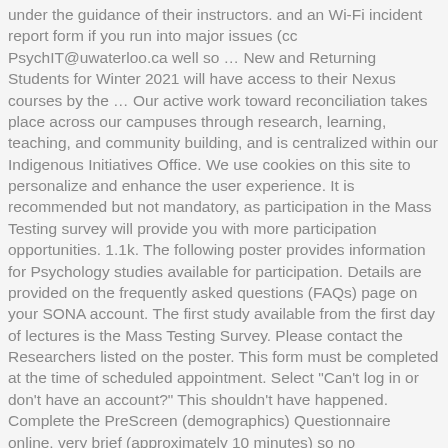under the guidance of their instructors. and an Wi-Fi incident report form if you run into major issues (cc PsychIT@uwaterloo.ca well so … New and Returning Students for Winter 2021 will have access to their Nexus courses by the … Our active work toward reconciliation takes place across our campuses through research, learning, teaching, and community building, and is centralized within our Indigenous Initiatives Office. We use cookies on this site to personalize and enhance the user experience. It is recommended but not mandatory, as participation in the Mass Testing survey will provide you with more participation opportunities. 1.1k. The following poster provides information for Psychology studies available for participation. Details are provided on the frequently asked questions (FAQs) page on your SONA account. The first study available from the first day of lectures is the Mass Testing Survey. Please contact the Researchers listed on the poster. This form must be completed at the time of scheduled appointment. Select "Can't log in or don't have an account?" This shouldn't have happened. Complete the PreScreen (demographics) Questionnaire online, very brief (approximately 10 minutes) so no